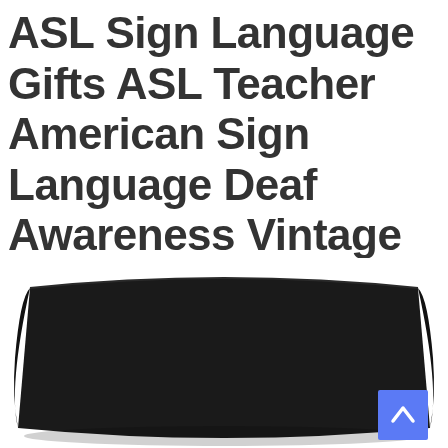ASL Sign Language Gifts ASL Teacher American Sign Language Deaf Awareness Vintage Throw Pillow Multicolor 18x18
[Figure (photo): A black throw pillow photographed from the front against a white background, showing the top and middle portion of the pillow. A blue scroll-to-top button with an upward chevron arrow is visible in the lower right corner.]